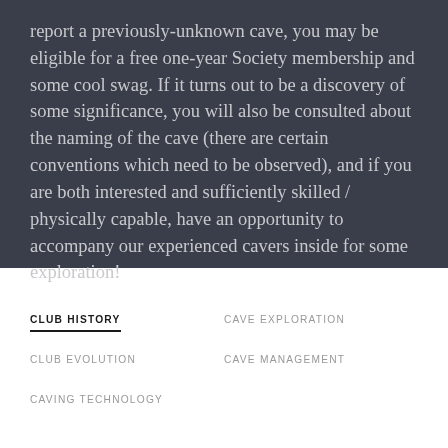report a previously-unknown cave, you may be eligible for a free one-year Society membership and some cool swag. If it turns out to be a discovery of some significance, you will also be consulted about the naming of the cave (there are certain conventions which need to be observed), and if you are both interested and sufficiently skilled / physically capable, have an opportunity to accompany our experienced cavers inside for some exploration!
CLUB HISTORY
CAVE EXPLORATION
CLUB EVOLUTION
CAVE MANAGEMENT
CAVING TECHNOLOGY